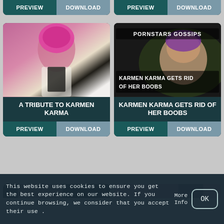[Figure (other): Top row card buttons only visible - PREVIEW and DOWNLOAD buttons for two partially visible cards]
[Figure (photo): Photo of woman with pink hair wearing black and white outfit, titled A TRIBUTE TO KARMEN KARMA with PREVIEW and DOWNLOAD buttons]
[Figure (photo): Dark image with text PORNSTARS GOSSIPS and KARMEN KARMA GETS RID OF HER BOOBS with PREVIEW and DOWNLOAD buttons]
[Figure (other): Partial bottom row of cards barely visible]
This website uses cookies to ensure you get the best experience on our website. If you continue browsing, we consider that you accept their use .